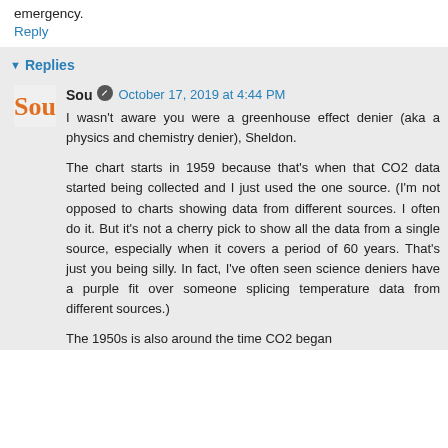emergency.
Reply
Replies
Sou  October 17, 2019 at 4:44 PM
I wasn't aware you were a greenhouse effect denier (aka a physics and chemistry denier), Sheldon.

The chart starts in 1959 because that's when that CO2 data started being collected and I just used the one source. (I'm not opposed to charts showing data from different sources. I often do it. But it's not a cherry pick to show all the data from a single source, especially when it covers a period of 60 years. That's just you being silly. In fact, I've often seen science deniers have a purple fit over someone splicing temperature data from different sources.)

The 1950s is also around the time CO2 began